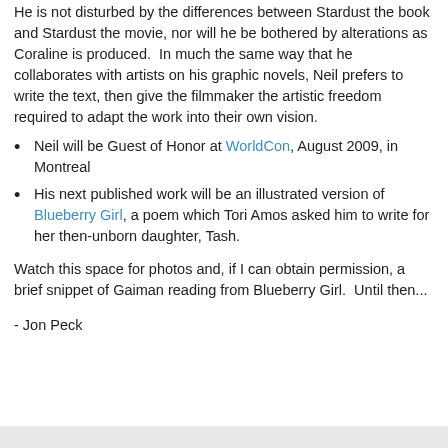He is not disturbed by the differences between Stardust the book and Stardust the movie, nor will he be bothered by alterations as Coraline is produced.  In much the same way that he collaborates with artists on his graphic novels, Neil prefers to write the text, then give the filmmaker the artistic freedom required to adapt the work into their own vision.
Neil will be Guest of Honor at WorldCon, August 2009, in Montreal
His next published work will be an illustrated version of Blueberry Girl, a poem which Tori Amos asked him to write for her then-unborn daughter, Tash.
Watch this space for photos and, if I can obtain permission, a brief snippet of Gaiman reading from Blueberry Girl.  Until then...
- Jon Peck